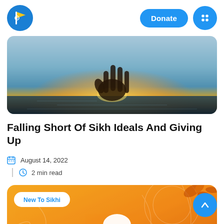Donate | Navigation
[Figure (photo): Hero image of a hand reaching upward against a glowing sunset over water]
Falling Short Of Sikh Ideals And Giving Up
August 14, 2022
2 min read
[Figure (illustration): Orange card with white silhouette of a turbaned Sikh figure, decorative map lines, and a 'New To Sikhi' badge]